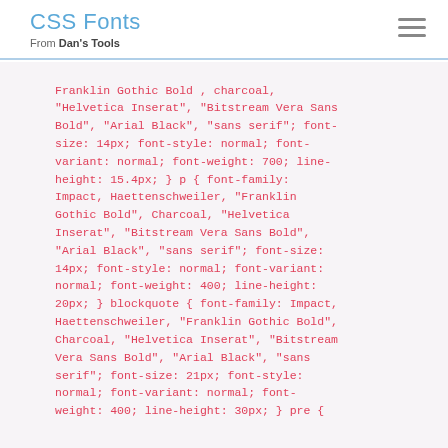CSS Fonts
From Dan's Tools
Franklin Gothic Bold , charcoal, "Helvetica Inserat", "Bitstream Vera Sans Bold", "Arial Black", "sans serif"; font-size: 14px; font-style: normal; font-variant: normal; font-weight: 700; line-height: 15.4px; } p { font-family: Impact, Haettenschweiler, "Franklin Gothic Bold", Charcoal, "Helvetica Inserat", "Bitstream Vera Sans Bold", "Arial Black", "sans serif"; font-size: 14px; font-style: normal; font-variant: normal; font-weight: 400; line-height: 20px; } blockquote { font-family: Impact, Haettenschweiler, "Franklin Gothic Bold", Charcoal, "Helvetica Inserat", "Bitstream Vera Sans Bold", "Arial Black", "sans serif"; font-size: 21px; font-style: normal; font-variant: normal; font-weight: 400; line-height: 30px; } pre {